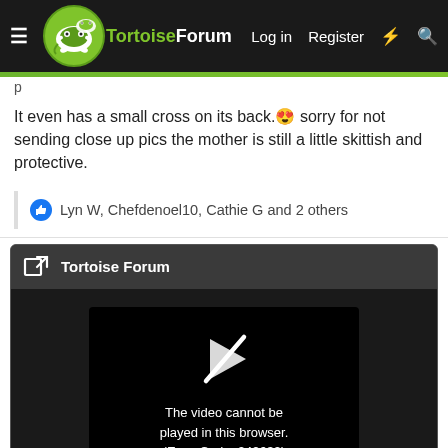TortoiseForum — Log in | Register
It even has a small cross on its back. 😍 sorry for not sending close up pics the mother is still a little skittish and protective.
👍 Lyn W, Chefdenoel10, Cathie G and 2 others
[Figure (screenshot): Embedded Tortoise Forum video player card showing error: The video cannot be played in this browser. (Error Code: 242632)]